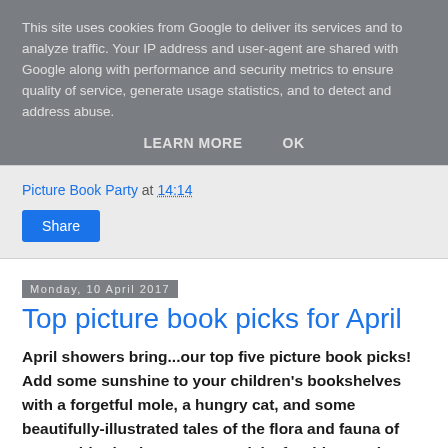This site uses cookies from Google to deliver its services and to analyze traffic. Your IP address and user-agent are shared with Google along with performance and security metrics to ensure quality of service, generate usage statistics, and to detect and address abuse.
LEARN MORE    OK
Picture Book Party at 14:14
Share
Monday, 10 April 2017
Top picture book picks for April
April showers bring...our top five picture book picks! Add some sunshine to your children's bookshelves with a forgetful mole, a hungry cat, and some beautifully-illustrated tales of the flora and fauna of our world. Check out our top picks for this month here!